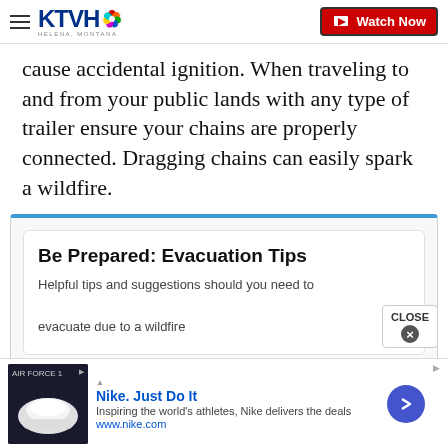KTVH – Helena, Montana | Watch Now
cause accidental ignition. When traveling to and from your public lands with any type of trailer ensure your chains are properly connected. Dragging chains can easily spark a wildfire.
[Figure (screenshot): Promotional card widget for 'Be Prepared: Evacuation Tips' – Helpful tips and suggestions should you need to evacuate due to a wildfire]
[Figure (screenshot): Nike advertisement banner: 'Nike. Just Do It' – Inspiring the world's athletes, Nike delivers the deals. www.nike.com]